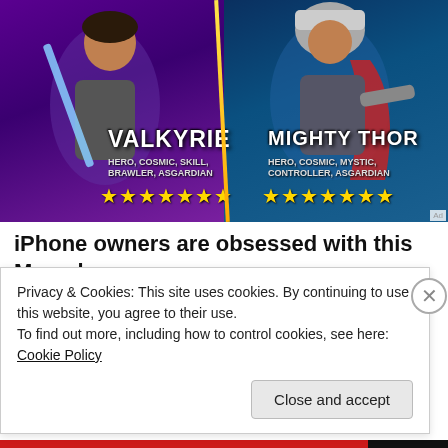[Figure (screenshot): Mobile game advertisement showing two Marvel characters: Valkyrie (left, with sword, purple background, tags: HERO, COSMIC, SKILL, BRAWLER, ASGARDIAN, 7 gold stars) and Mighty Thor (right, teal/blue background, tags: HERO, COSMIC, MYSTIC, CONTROLLER, ASGARDIAN, 7 gold stars)]
iPhone owners are obsessed with this Marvel game
MARVEL Strike Force
Posted on August 23, 2015. Posted in Genealogy, History | Tagged
Privacy & Cookies: This site uses cookies. By continuing to use this website, you agree to their use.
To find out more, including how to control cookies, see here: Cookie Policy
Close and accept